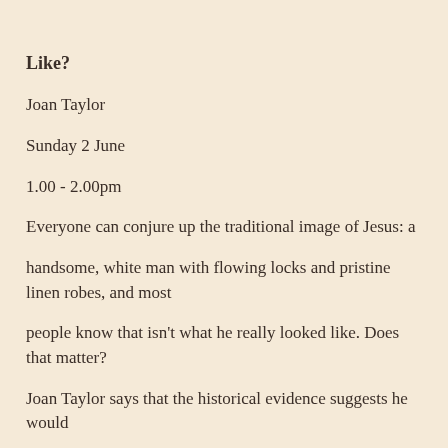Like?
Joan Taylor
Sunday 2 June
1.00 - 2.00pm
Everyone can conjure up the traditional image of Jesus: a handsome, white man with flowing locks and pristine linen robes, and most people know that isn't what he really looked like. Does that matter? Joan Taylor says that the historical evidence suggests he would have had dark skin and short hair, and would have worn rough, even scruffy